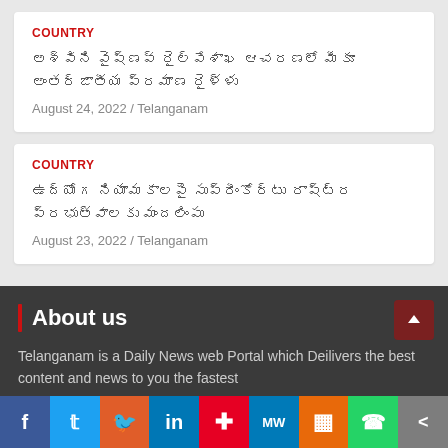COUNTRY
Telugu article title 1 (Telugu script)
August 24, 2022 / Telanganam
COUNTRY
Telugu article title 2 (Telugu script)
August 23, 2022 / Telanganam
About us
Telanganam is a Daily News web Portal which Deilivers the best content and news to you the fastest